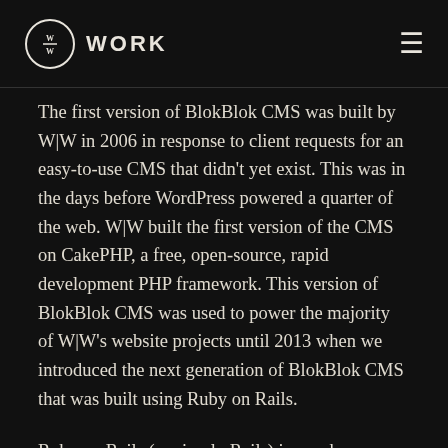W|W WORK
The first version of BlokBlok CMS was built by W|W in 2006 in response to client requests for an easy-to-use CMS that didn't yet exist. This was in the days before WordPress powered a quarter of the web. W|W built the first version of the CMS on CakePHP, a free, open-source, rapid development PHP framework. This version of BlokBlok CMS was used to power the majority of W|W's website projects until 2013 when we introduced the next generation of BlokBlok CMS that was built using Ruby on Rails.
Ruby on Rails (or simply Rails) is a web application development framework written in the Ruby language and is designed to make programming web...